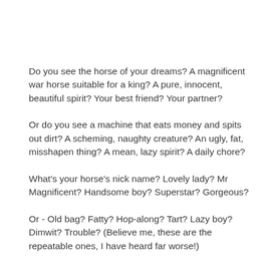Do you see the horse of your dreams? A magnificent war horse suitable for a king? A pure, innocent, beautiful spirit? Your best friend? Your partner?
Or do you see a machine that eats money and spits out dirt? A scheming, naughty creature? An ugly, fat, misshapen thing? A mean, lazy spirit? A daily chore?
What's your horse's nick name? Lovely lady? Mr Magnificent? Handsome boy? Superstar? Gorgeous?
Or - Old bag? Fatty? Hop-along? Tart? Lazy boy? Dimwit? Trouble? (Believe me, these are the repeatable ones, I have heard far worse!)
You might think it doesn't matter because horses don't understand English after all. But actually your horse